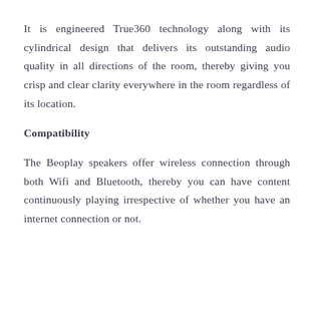It is engineered True360 technology along with its cylindrical design that delivers its outstanding audio quality in all directions of the room, thereby giving you crisp and clear clarity everywhere in the room regardless of its location.
Compatibility
The Beoplay speakers offer wireless connection through both Wifi and Bluetooth, thereby you can have content continuously playing irrespective of whether you have an internet connection or not.